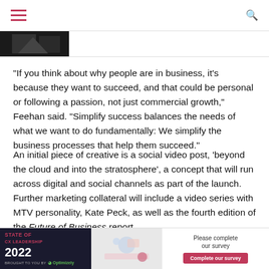[Figure (photo): Partial cropped photo strip at top left]
“If you think about why people are in business, it’s because they want to succeed, and that could be personal or following a passion, not just commercial growth,” Feehan said. “Simplify success balances the needs of what we want to do fundamentally: We simplify the business processes that help them succeed.”
An initial piece of creative is a social video post, ‘beyond the cloud and into the stratosphere’, a concept that will run across digital and social channels as part of the launch. Further marketing collateral will include a video series with MTV personality, Kate Peck, as well as the fourth edition of the Future of Business report.
More widely, Feehan grouped the go-to-market approach under several The first is le is
[Figure (screenshot): Advertisement banner: STATE OF CX LEADERSHIP 2022, brought to you by Optimizely. Please complete our survey. Complete our survey button.]